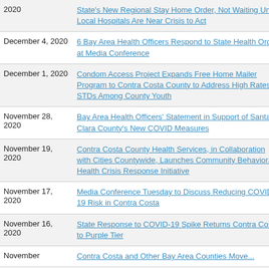| Date | Title |
| --- | --- |
| 2020 | State's New Regional Stay Home Order, Not Waiting Until Local Hospitals Are Near Crisis to Act |
| December 4, 2020 | 6 Bay Area Health Officers Respond to State Health Order at Media Conference |
| December 1, 2020 | Condom Access Project Expands Free Home Mailer Program to Contra Costa County to Address High Rates of STDs Among County Youth |
| November 28, 2020 | Bay Area Health Officers' Statement in Support of Santa Clara County's New COVID Measures |
| November 19, 2020 | Contra Costa County Health Services, in Collaboration with Cities Countywide, Launches Community Behavioral Health Crisis Response Initiative |
| November 17, 2020 | Media Conference Tuesday to Discuss Reducing COVID-19 Risk in Contra Costa |
| November 16, 2020 | State Response to COVID-19 Spike Returns Contra Costa to Purple Tier |
| November | Contra Costa and Other Bay Area Counties Move... |